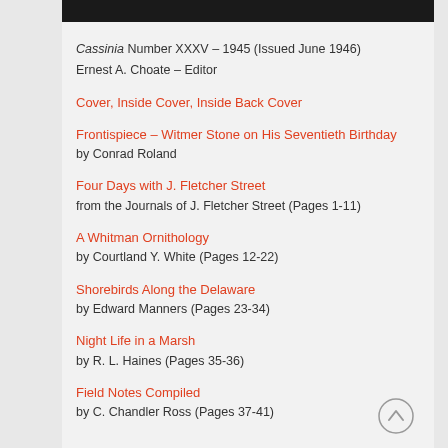Cassinia Number XXXV – 1945 (Issued June 1946)
Ernest A. Choate – Editor
Cover, Inside Cover, Inside Back Cover
Frontispiece – Witmer Stone on His Seventieth Birthday
by Conrad Roland
Four Days with J. Fletcher Street
from the Journals of J. Fletcher Street (Pages 1-11)
A Whitman Ornithology
by Courtland Y. White (Pages 12-22)
Shorebirds Along the Delaware
by Edward Manners (Pages 23-34)
Night Life in a Marsh
by R. L. Haines (Pages 35-36)
Field Notes Compiled
by C. Chandler Ross (Pages 37-41)